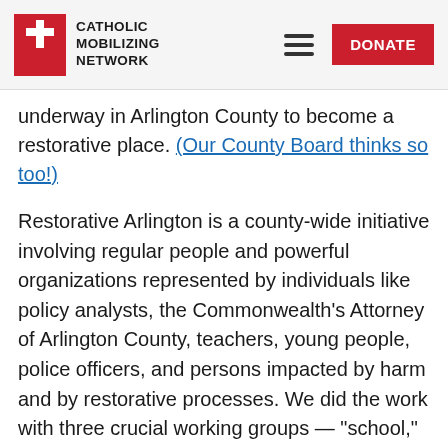Catholic Mobilizing Network | DONATE
underway in Arlington County to become a restorative place. (Our County Board thinks so too!)
Restorative Arlington is a county-wide initiative involving regular people and powerful organizations represented by individuals like policy analysts, the Commonwealth’s Attorney of Arlington County, teachers, young people, police officers, and persons impacted by harm and by restorative processes. We did the work with three crucial working groups — “school,” “community,” and “legal systems” — and all participants had